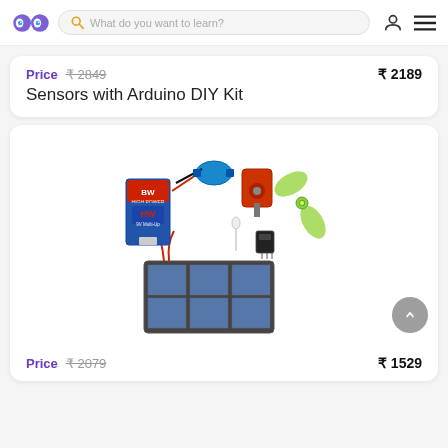What do you want to learn?
Price  ₹ 2849  ₹ 2189
Sensors with Arduino DIY Kit
[Figure (photo): Product photo of a solar energy kit including a solar panel, battery, DC motor with propeller fan, LED, resistor, and battery connector with wires.]
Price  ₹ 2079  ₹ 1529